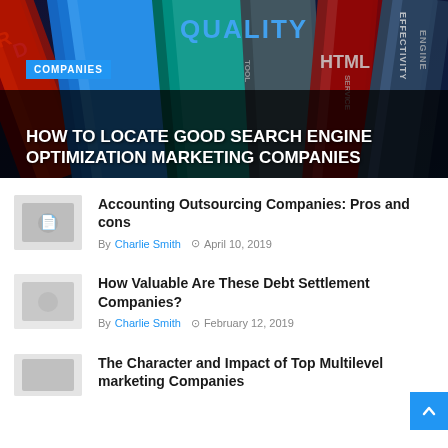[Figure (photo): Hero image with colorful 3D layered word tiles showing SEO-related terms like QUALITY, HTML, EFFECTIVITY, ENGINE in red, blue, teal colors on dark background]
COMPANIES
HOW TO LOCATE GOOD SEARCH ENGINE OPTIMIZATION MARKETING COMPANIES
Accounting Outsourcing Companies: Pros and cons
By Charlie Smith  ●  April 10, 2019
How Valuable Are These Debt Settlement Companies?
By Charlie Smith  ●  February 12, 2019
The Character and Impact of Top Multilevel marketing Companies